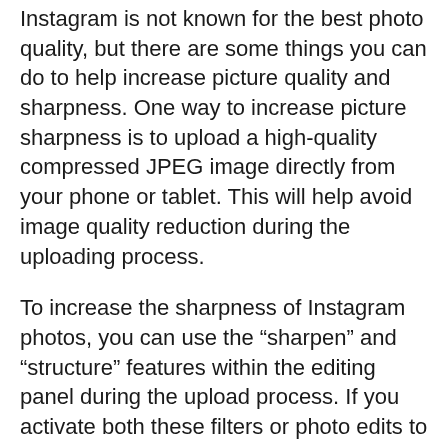Instagram is not known for the best photo quality, but there are some things you can do to help increase picture quality and sharpness. One way to increase picture sharpness is to upload a high-quality compressed JPEG image directly from your phone or tablet. This will help avoid image quality reduction during the uploading process.
To increase the sharpness of Instagram photos, you can use the “sharpen” and “structure” features within the editing panel during the upload process. If you activate both these filters or photo edits to the max, it should go a long way in increasing picture quality. Another thing is selecting 1080 as the resolution if the image is wider than it is high.
Of course, how well your camera performs in the first place is another issue that you must consider. If you want to make your Instagram photos sharp, then they need to be high-quality in the first place. This means that having a camera with either an excellent digital